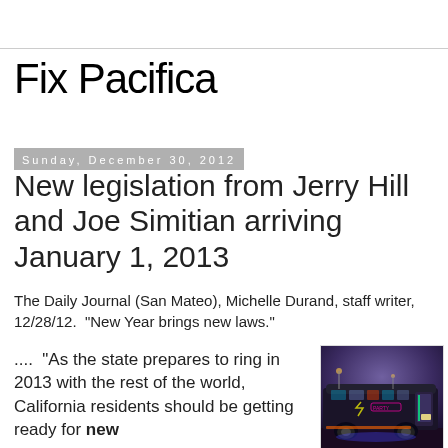Fix Pacifica
Sunday, December 30, 2012
New legislation from Jerry Hill and Joe Simitian arriving January 1, 2013
The Daily Journal (San Mateo), Michelle Durand, staff writer, 12/28/12.  "New Year brings new laws."
....  "As the state prepares to ring in 2013 with the rest of the world, California residents should be getting ready for new
[Figure (photo): A decorated party bus or tour bus photographed at dusk/night with colorful lights and graphics on its exterior.]